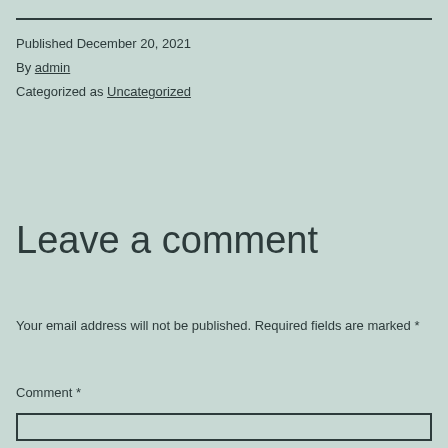Published December 20, 2021
By admin
Categorized as Uncategorized
Leave a comment
Your email address will not be published. Required fields are marked *
Comment *